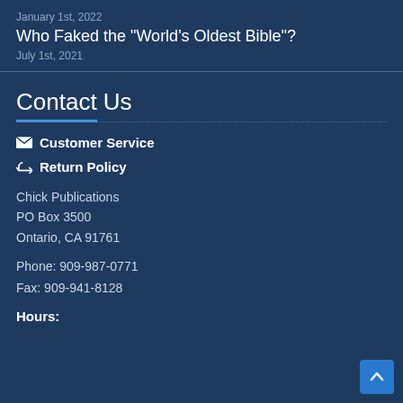January 1st, 2022
Who Faked the "World's Oldest Bible"?
July 1st, 2021
Contact Us
✉ Customer Service
↩ Return Policy
Chick Publications
PO Box 3500
Ontario, CA 91761
Phone: 909-987-0771
Fax: 909-941-8128
Hours: